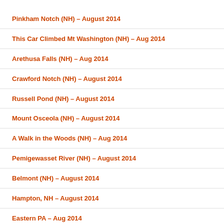Pinkham Notch (NH) – August 2014
This Car Climbed Mt Washington (NH) – Aug 2014
Arethusa Falls (NH) – Aug 2014
Crawford Notch (NH) – August 2014
Russell Pond (NH) – August 2014
Mount Osceola (NH) – August 2014
A Walk in the Woods (NH) – Aug 2014
Pemigewasset River (NH) – August 2014
Belmont (NH) – August 2014
Hampton, NH – August 2014
Eastern PA – Aug 2014